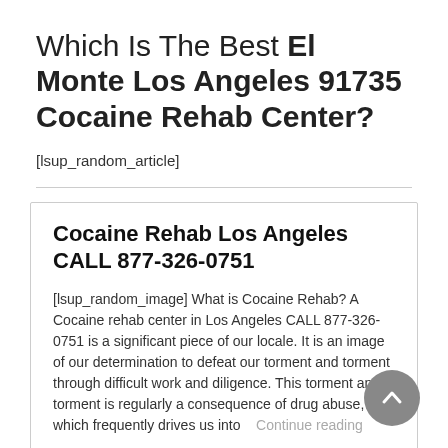Which Is The Best El Monte Los Angeles 91735 Cocaine Rehab Center?
[lsup_random_article]
Cocaine Rehab Los Angeles CALL 877-326-0751
[lsup_random_image] What is Cocaine Rehab? A Cocaine rehab center in Los Angeles CALL 877-326-0751 is a significant piece of our locale. It is an image of our determination to defeat our torment and torment through difficult work and diligence. This torment and torment is regularly a consequence of drug abuse, which frequently drives us into... Continue reading